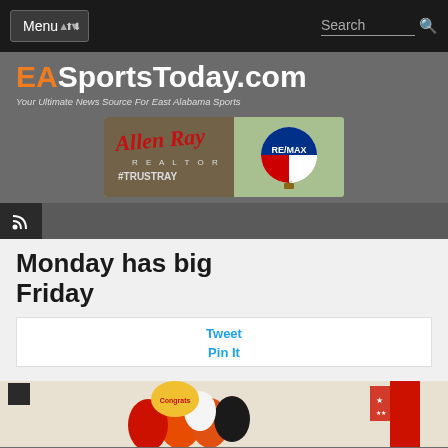Menu | Search
[Figure (logo): EASportsToday.com logo with orange EA and white SportsToday.com text. Tagline: Your Ultimate News Source For East Alabama Sports]
[Figure (photo): Allen Ray Realtor #TRUSTRAY advertisement banner with RE/MAX hot air balloon logo]
[Figure (other): RSS feed icon in dark box with gray bar]
Monday has big Friday
Tweet
Pin It
[Figure (photo): Photo of colorful balloons including orange, black, white with Congrats balloon in a gym or school setting with a red pole visible]